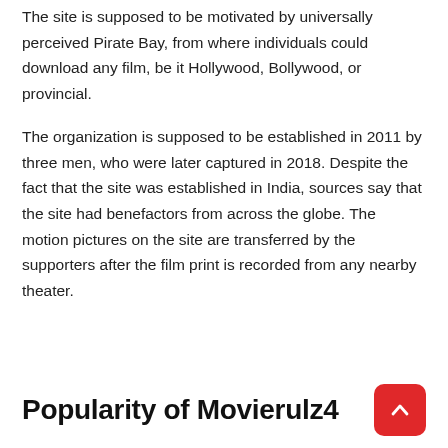The site is supposed to be motivated by universally perceived Pirate Bay, from where individuals could download any film, be it Hollywood, Bollywood, or provincial.
The organization is supposed to be established in 2011 by three men, who were later captured in 2018. Despite the fact that the site was established in India, sources say that the site had benefactors from across the globe. The motion pictures on the site are transferred by the supporters after the film print is recorded from any nearby theater.
Popularity of Movierulz4